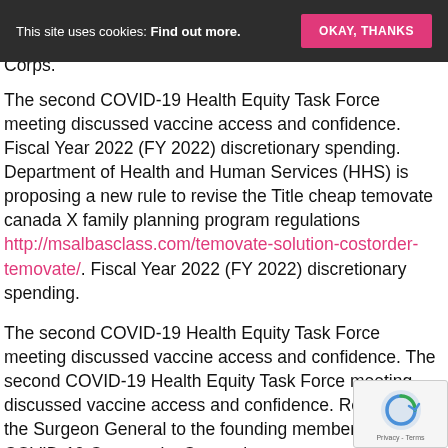This site uses cookies: Find out more. [OKAY, THANKS]
Corps.
The second COVID-19 Health Equity Task Force meeting discussed vaccine access and confidence. Fiscal Year 2022 (FY 2022) discretionary spending. Department of Health and Human Services (HHS) is proposing a new rule to revise the Title cheap temovate canada X family planning program regulations http://msalbasclass.com/temovate-solution-costorder-temovate/. Fiscal Year 2022 (FY 2022) discretionary spending.
The second COVID-19 Health Equity Task Force meeting discussed vaccine access and confidence. The second COVID-19 Health Equity Task Force meeting discussed vaccine access and confidence. Remarks by the Surgeon General to the founding members of the COVID-19 Community Corps cheap temovate canada. Department of Health and Human Services (HHS) is proposing a new rule to revise the Title X family planning program